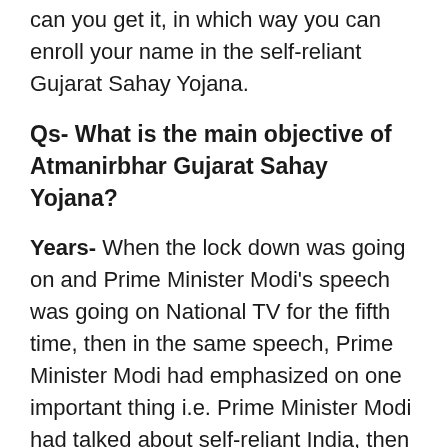can you get it, in which way you can enroll your name in the self-reliant Gujarat Sahay Yojana.
Qs- What is the main objective of Atmanirbhar Gujarat Sahay Yojana?
Years- When the lock down was going on and Prime Minister Modi's speech was going on National TV for the fifth time, then in the same speech, Prime Minister Modi had emphasized on one important thing i.e. Prime Minister Modi had talked about self-reliant India, then the same thing The objective of this plan is to
Qs- What is the benefit of Atmanirbhar Gujarat Sahay Yojana?
Years- Like we have told you earlier that this